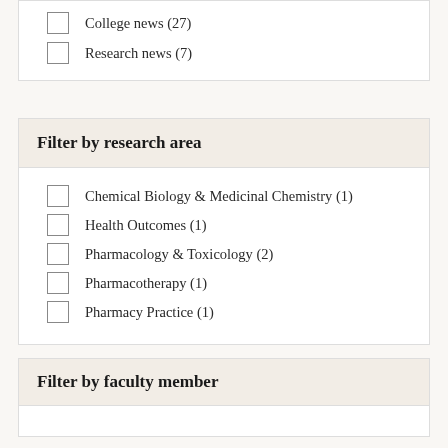College news (27)
Research news (7)
Filter by research area
Chemical Biology & Medicinal Chemistry (1)
Health Outcomes (1)
Pharmacology & Toxicology (2)
Pharmacotherapy (1)
Pharmacy Practice (1)
Filter by faculty member